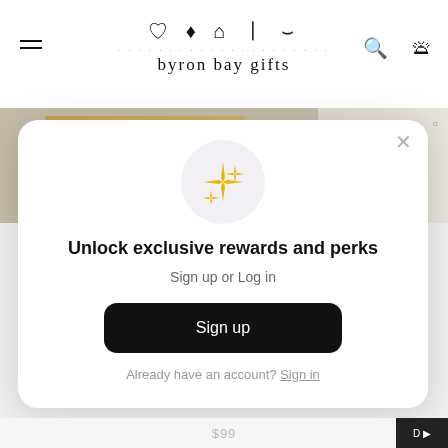[Figure (logo): Byron Bay Gifts logo with icons (heart, surfboard, lighthouse, flip flops, mortar) above dotted line and text 'byron bay gifts']
[Figure (photo): Product gift boxes including kraft paper boxes, a teal card, and other items on the page background]
[Figure (infographic): Modal popup with sparkle/star icon in a light grey circle]
Unlock exclusive rewards and perks
Sign up or Log in
Sign up
Already have an account? Sign in
$99